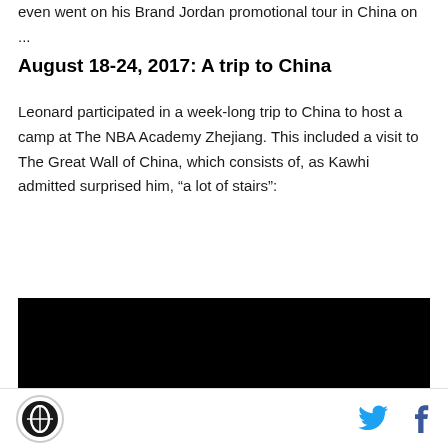even went on his Brand Jordan promotional tour in China on ...
August 18-24, 2017: A trip to China
Leonard participated in a week-long trip to China to host a camp at The NBA Academy Zhejiang. This included a visit to The Great Wall of China, which consists of, as Kawhi admitted surprised him, “a lot of stairs”:
[Figure (other): Black video embed placeholder rectangle]
Logo icon | Twitter share | Facebook share